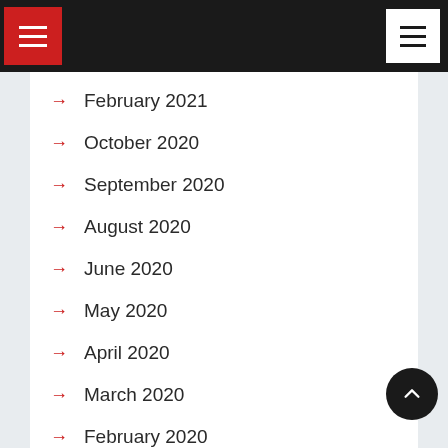Navigation header with red hamburger menu and white hamburger menu
February 2021
October 2020
September 2020
August 2020
June 2020
May 2020
April 2020
March 2020
February 2020
November 2019
October 2019